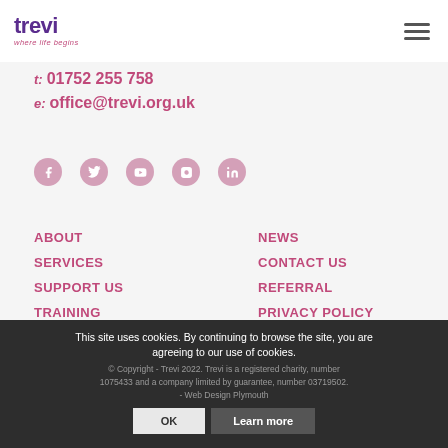[Figure (logo): Trevi logo with purple 'trevi' wordmark and pink italic tagline 'where life begins']
t: 01752 255 758
e: office@trevi.org.uk
[Figure (illustration): Row of five social media icon circles (Facebook, Twitter, YouTube, Instagram, LinkedIn) in muted pink/mauve color]
ABOUT
SERVICES
SUPPORT US
TRAINING
NEWS
CONTACT US
REFERRAL
PRIVACY POLICY
This site uses cookies. By continuing to browse the site, you are agreeing to our use of cookies.
© Copyright - Trevi 2022. Trevi is a registered charity, number 1075433 and a company limited by guarantee, number 03719502. - Web Design Plymouth